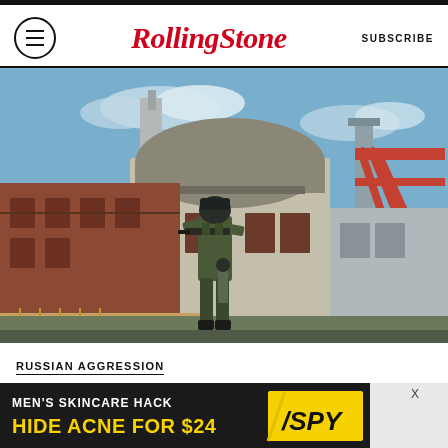Rolling Stone — SUBSCRIBE
[Figure (photo): Armed soldier in military gear and helmet standing in front of the Zaporizhzhia nuclear power plant buildings under a blue sky.]
RUSSIAN AGGRESSION
This is How You Get a Second Chernobyl — Or a Third World War
BY MAC WILLIAM BISHOP
[Figure (infographic): Advertisement: MEN'S SKINCARE HACK HIDE ACNE FOR $24 — SPY logo]